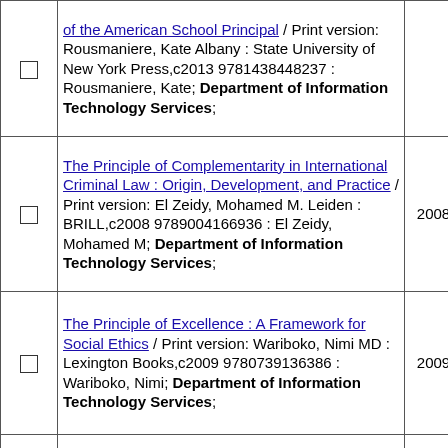|  | Title/Description | Year | # |
| --- | --- | --- | --- |
| ☐ | of the American School Principal / Print version: Rousmaniere, Kate Albany : State University of New York Press,c2013 9781438448237 : Rousmaniere, Kate; Department of Information Technology Services; |  | 1 |
| ☐ | The Principle of Complementarity in International Criminal Law : Origin, Development, and Practice / Print version: El Zeidy, Mohamed M. Leiden : BRILL,c2008 9789004166936 : El Zeidy, Mohamed M; Department of Information Technology Services; | 2008 | 1 |
| ☐ | The Principle of Excellence : A Framework for Social Ethics / Print version: Wariboko, Nimi MD : Lexington Books,c2009 9780739136386 : Wariboko, Nimi; Department of Information Technology Services; | 2009 | 1 |
| ☐ | The Principle of Sufficient Reason : A Reassessment / Print version: Pruss, Alexander R. Cambridge : Cambridge University Press,c2006 9780521859592 : Pruss, Alexander R; | 2006 | 1 |